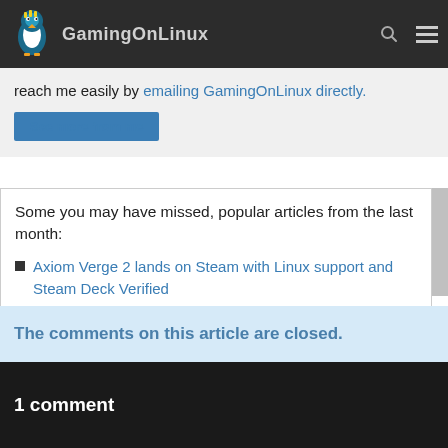GamingOnLinux
reach me easily by emailing GamingOnLinux directly.
See more from me
Some you may have missed, popular articles from the last month:
Axiom Verge 2 lands on Steam with Linux support and Steam Deck Verified
Valheim gets patched to prevent the world resetting
Justin Wack and the Big Time Hack is another fun looking point and clicker coming
The comments on this article are closed.
1 comment